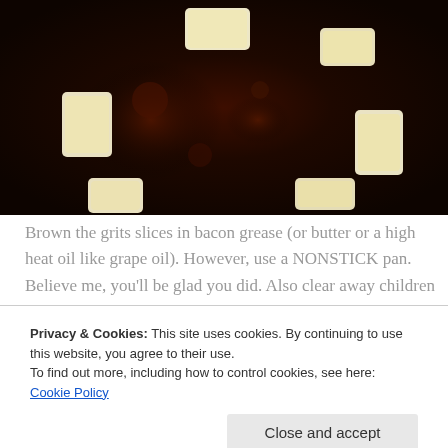[Figure (photo): Fried grits slices browning in a dark nonstick pan with bacon grease, viewed from above. The grits pieces are pale yellow/white rectangles scattered across the dark pan surface.]
Brown the grits slices in bacon grease (or butter or a high heat oil like grape oil). However, use a NONSTICK pan. Believe me, you'll be glad you did. Also clear away children
Privacy & Cookies: This site uses cookies. By continuing to use this website, you agree to their use.
To find out more, including how to control cookies, see here: Cookie Policy
Close and accept
[Figure (photo): Bottom partial view of food cooking in a pan, appears to be the same grits slices now more browned/cooked, with warm orange-yellow tones.]